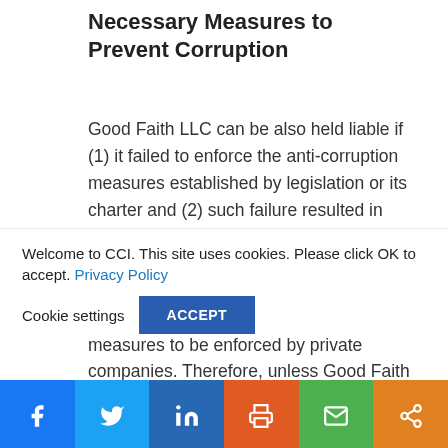Necessary Measures to Prevent Corruption
Good Faith LLC can be also held liable if (1) it failed to enforce the anti-corruption measures established by legislation or its charter and (2) such failure resulted in commission of one or the Crimes. And now the time has come for Good Faith LLC to be puzzled, because currently no legislative act establishes anti-corruption measures to be enforced by private companies. Therefore, unless Good Faith LLC established anti-corruption measures
Welcome to CCI. This site uses cookies. Please click OK to accept. Privacy Policy
Cookie settings  ACCEPT